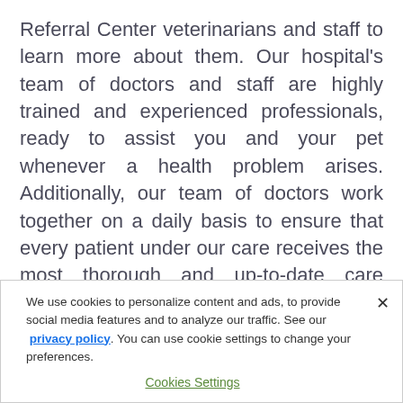Referral Center veterinarians and staff to learn more about them. Our hospital's team of doctors and staff are highly trained and experienced professionals, ready to assist you and your pet whenever a health problem arises. Additionally, our team of doctors work together on a daily basis to ensure that every patient under our care receives the most thorough and up-to-date care possible. As you will see in our biography section, our staff has a wide variety of backgrounds and interests, but, above all, a love of animals and a desire to provide the very best care for them.
We use cookies to personalize content and ads, to provide social media features and to analyze our traffic. See our privacy policy. You can use cookie settings to change your preferences.
Cookies Settings